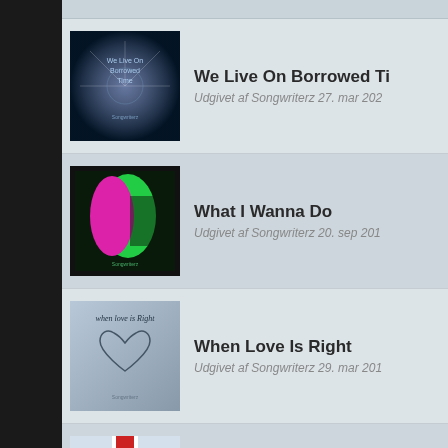We Live On Borrowed Ti
Udgivet af Songwriterz 27. mar 202
What I Wanna Do
Udgivet af Songwriterz 20. sep 201
When Love Is Right
Udgivet af Songwriterz 29. mar 201
You Can Lean On Me (Ne
Udgivet af Songwriterz 8. aug 2011
You're Gonna Lose
Udgivet af Songwriterz 19. mar 201